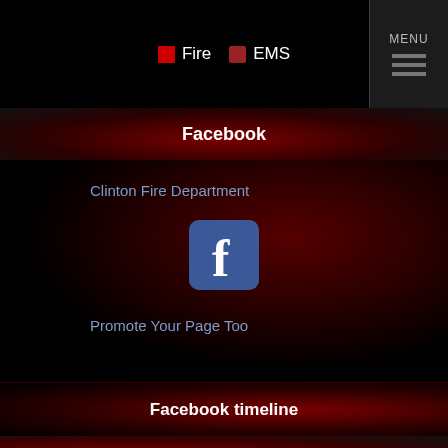Fire  EMS  MENU
Facebook
Clinton Fire Department
[Figure (logo): Facebook logo icon - blue rounded square with white 'f' letter]
Promote Your Page Too
Facebook timeline
Newsletter
Stay up to date!
Add your email address to subscribe to our newsletter
Subscribe